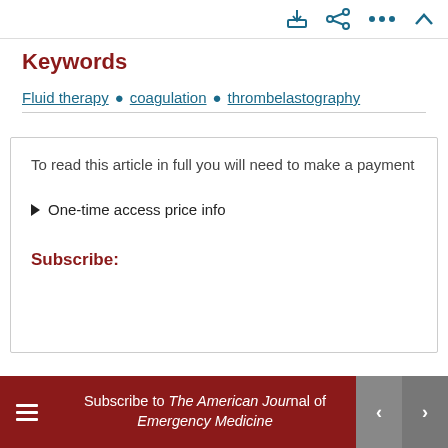toolbar icons: download, share, more, collapse
Keywords
Fluid therapy • coagulation • thrombelastography
To read this article in full you will need to make a payment
▶ One-time access price info
Subscribe:
Subscribe to The American Journal of Emergency Medicine